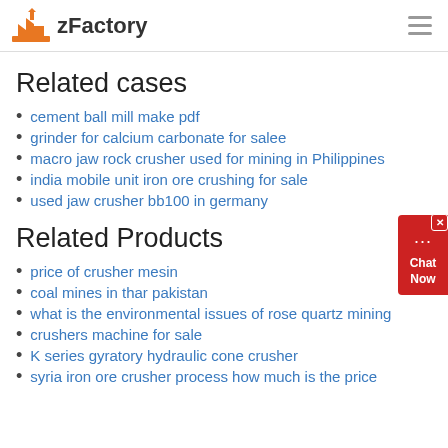zFactory
Related cases
cement ball mill make pdf
grinder for calcium carbonate for salee
macro jaw rock crusher used for mining in Philippines
india mobile unit iron ore crushing for sale
used jaw crusher bb100 in germany
Related Products
price of crusher mesin
coal mines in thar pakistan
what is the environmental issues of rose quartz mining
crushers machine for sale
K series gyratory hydraulic cone crusher
syria iron ore crusher process how much is the price
[Figure (infographic): Chat Now widget button in red on the right side of the page]